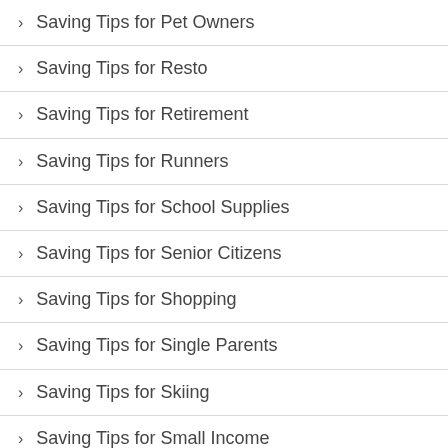Saving Tips for Pet Owners
Saving Tips for Resto
Saving Tips for Retirement
Saving Tips for Runners
Saving Tips for School Supplies
Saving Tips for Senior Citizens
Saving Tips for Shopping
Saving Tips for Single Parents
Saving Tips for Skiing
Saving Tips for Small Income